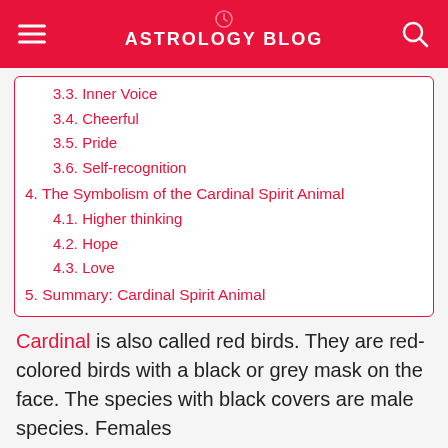ASTROLOGY BLOG
3.3. Inner Voice
3.4. Cheerful
3.5. Pride
3.6. Self-recognition
4. The Symbolism of the Cardinal Spirit Animal
4.1. Higher thinking
4.2. Hope
4.3. Love
5. Summary: Cardinal Spirit Animal
Cardinal is also called red birds. They are red-colored birds with a black or grey mask on the face. The species with black covers are male species. Females